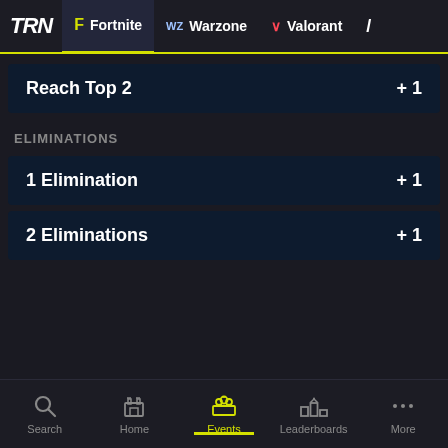TRN  Fortnite  WZ Warzone  V Valorant
Reach Top 2  +1
ELIMINATIONS
1 Elimination  +1
2 Eliminations  +1
Search  Home  Events  Leaderboards  More